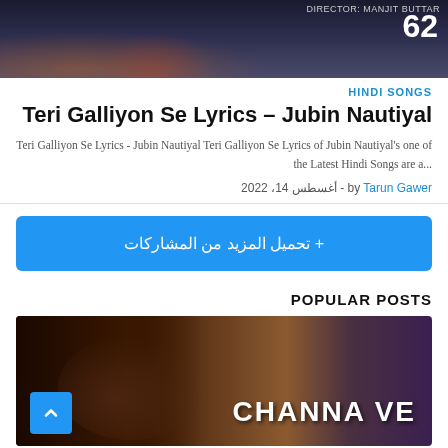[Figure (photo): Dark movie poster image with fire/action scene, director credit text and number overlay visible at top right]
HINDI SONGS
Teri Galliyon Se Lyrics – Jubin Nautiyal
Teri Galliyon Se Lyrics - Jubin Nautiyal Teri Galliyon Se Lyrics of Jubin Nautiyal's one of the Latest Hindi Songs are a...
by Tarun Gawer - أغسطس 14، 2022
+ تحميل المزيد من المشاركات
POPULAR POSTS
[Figure (photo): Movie still showing people, with CHANNA VE text overlay in white bold letters]